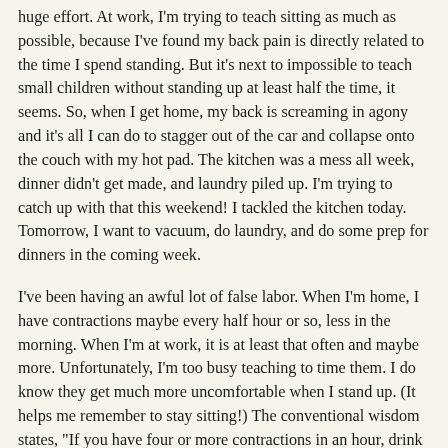huge effort. At work, I'm trying to teach sitting as much as possible, because I've found my back pain is directly related to the time I spend standing. But it's next to impossible to teach small children without standing up at least half the time, it seems. So, when I get home, my back is screaming in agony and it's all I can do to stagger out of the car and collapse onto the couch with my hot pad. The kitchen was a mess all week, dinner didn't get made, and laundry piled up. I'm trying to catch up with that this weekend! I tackled the kitchen today. Tomorrow, I want to vacuum, do laundry, and do some prep for dinners in the coming week.
I've been having an awful lot of false labor. When I'm home, I have contractions maybe every half hour or so, less in the morning. When I'm at work, it is at least that often and maybe more. Unfortunately, I'm too busy teaching to time them. I do know they get much more uncomfortable when I stand up. (It helps me remember to stay sitting!) The conventional wisdom states, "If you have four or more contractions in an hour, drink water and lie down to help them subside." That is all very well, but I don't know what they would suggest for elementary school teachers. I can't tell how often I'm having these contractions, and I can't lie down even on my free periods, because there is nowhere to go. So I drink